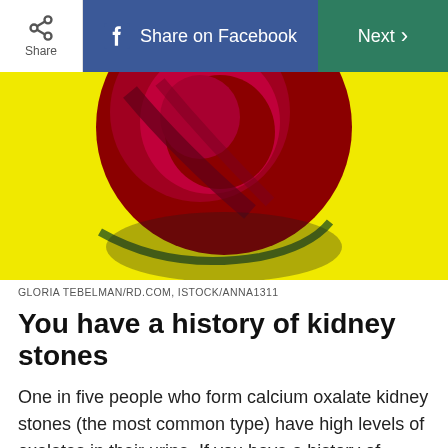Share | Share on Facebook | Next
[Figure (photo): Close-up of a red beet slice on a yellow background with a yellow X graphic overlay]
GLORIA TEBELMAN/RD.COM, ISTOCK/ANNA1311
You have a history of kidney stones
One in five people who form calcium oxalate kidney stones (the most common type) have high levels of oxalates in their urine. If you have a history of kidney stones, limit oxalate-rich foods